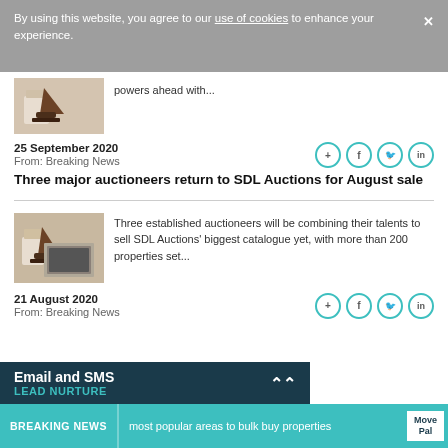By using this website, you agree to our use of cookies to enhance your experience.
powers ahead with...
25 September 2020
From: Breaking News
Three major auctioneers return to SDL Auctions for August sale
Three established auctioneers will be combining their talents to sell SDL Auctions' biggest catalogue yet, with more than 200 properties set...
21 August 2020
From: Breaking News
Email and SMS LEAD NURTURE
BREAKING NEWS most popular areas to bulk buy properties MovePal